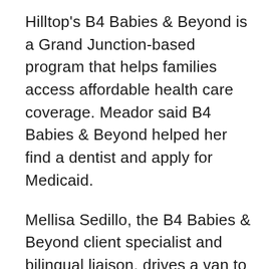Hilltop's B4 Babies & Beyond is a Grand Junction-based program that helps families access affordable health care coverage. Meador said B4 Babies & Beyond helped her find a dentist and apply for Medicaid.
Mellisa Sedillo, the B4 Babies & Beyond client specialist and bilingual liaison, drives a van to pick up pregnant, monolingual Spanish-speaking clients and takes them to their prenatal appointments, where she typically stays and translates for the client and provider. Two of her clients this year included a 16- and 17-year-old.